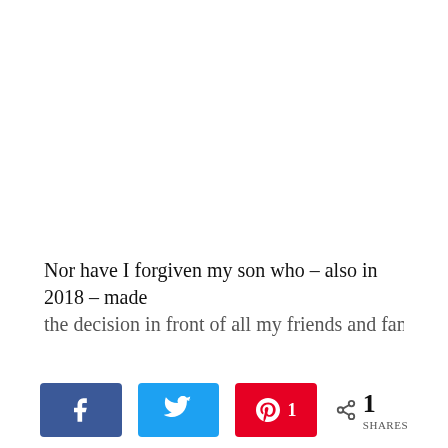Nor have I forgiven my son who – also in 2018 – made the decision in front of all my friends and family to...
[Figure (other): Social share bar with Facebook, Twitter, and Pinterest buttons plus a share count of 1]